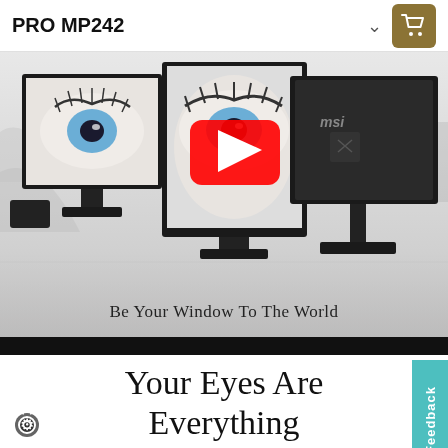PRO MP242
[Figure (screenshot): MSI PRO MP242 monitor product page hero image showing three monitors from different angles with a YouTube play button overlay, text 'Be Your Window To The World' at the bottom]
Your Eyes Are Everything
[Figure (photo): Close-up photo of a person's hair and forehead at the bottom of the page]